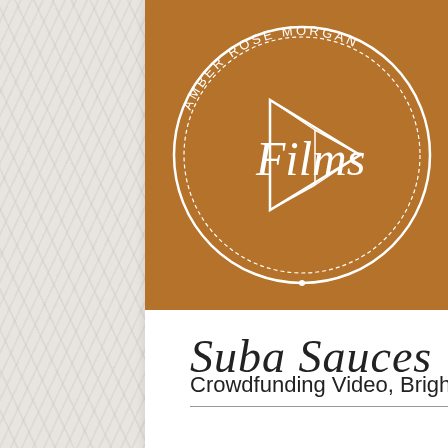[Figure (logo): Amber Rose Morgan Films logo — circular badge in white on brown background with script 'Films' text and triangle/play-button shape in the center]
Suba Sauces
Crowdfunding Video, Brighton